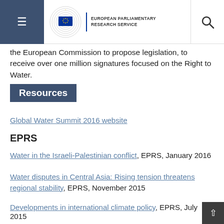European Parliamentary Research Service
the European Commission to propose legislation, to receive over one million signatures focused on the Right to Water.
Resources
Global Water Summit 2016 website
EPRS
Water in the Israeli-Palestinian conflict, EPRS, January 2016
Water disputes in Central Asia: Rising tension threatens regional stability, EPRS, November 2015
Developments in international climate policy, EPRS, July 2015